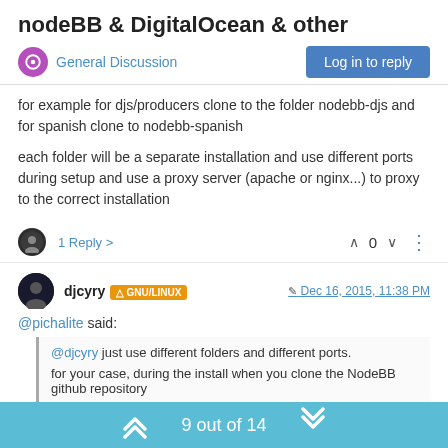nodeBB & DigitalOcean & other
General Discussion
for example for djs/producers clone to the folder nodebb-djs and for spanish clone to nodebb-spanish
each folder will be a separate installation and use different ports during setup and use a proxy server (apache or nginx...) to proxy to the correct installation
1 Reply >
0
djcyry  GNU/LINUX   Dec 16, 2015, 11:38 PM
@pichalite said:
@djcyry just use different folders and different ports.

for your case, during the install when you clone the NodeBB github repository
9 out of 14